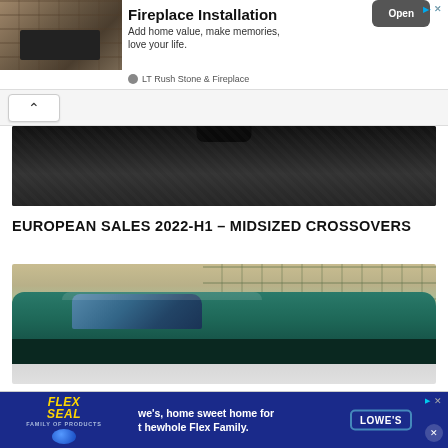[Figure (other): Top advertisement banner for LT Rush Stone & Fireplace showing fireplace installation with stone wall, headline 'Fireplace Installation', tagline 'Add home value, make memories, love your life.' and an 'Open' button]
[Figure (photo): Dark close-up photo strip showing a textured dark surface, possibly asphalt or stone road, with a dark rounded object at top center]
EUROPEAN SALES 2022-H1 – MIDSIZED CROSSOVERS
[Figure (photo): Photo of a teal/dark green car (crossover or sedan) viewed from the side, parked in front of a building with block/tile wall pattern visible in background]
[Figure (other): Bottom advertisement banner featuring Flex Seal product logo on blue background on left, text 'we's, home sweet home for the whole Flex Family.' with Lowe's logo badge on right]